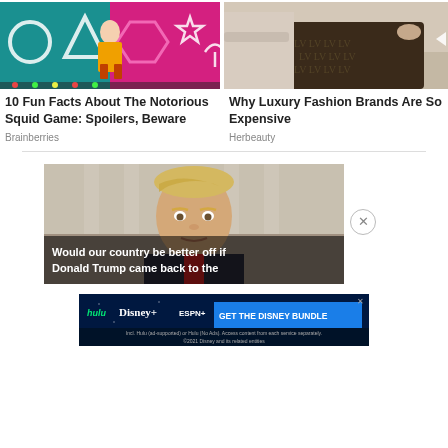[Figure (photo): Squid Game themed image showing a doll character with geometric shapes on a pink/teal background]
10 Fun Facts About The Notorious Squid Game: Spoilers, Beware
Brainberries
[Figure (photo): Person lying on a couch covered with a Louis Vuitton monogram blanket]
Why Luxury Fashion Brands Are So Expensive
Herbeauty
[Figure (photo): Donald Trump looking stern with a dark overlay banner at the bottom reading: Would our country be better off if Donald Trump came back to the]
Would our country be better off if Donald Trump came back to the
[Figure (infographic): Disney Bundle advertisement showing Hulu, Disney+, ESPN+ logos with GET THE DISNEY BUNDLE button and fine print]
Incl. Hulu (ad-supported) or Hulu (No Ads). Access content from each service separately. ©2021 Disney and its related entities